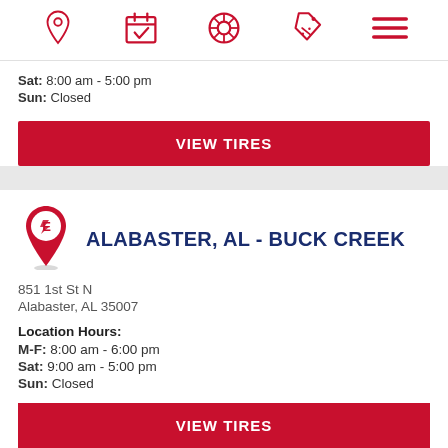[Figure (screenshot): Navigation bar with 5 red icons: location pin, calendar with checkmark, tire/wheel, price tag with percent, hamburger menu]
Sat: 8:00 am - 5:00 pm
Sun: Closed
VIEW TIRES
ALABASTER, AL - BUCK CREEK
851 1st St N
Alabaster, AL 35007
Location Hours:
M-F: 8:00 am - 6:00 pm
Sat: 9:00 am - 5:00 pm
Sun: Closed
VIEW TIRES